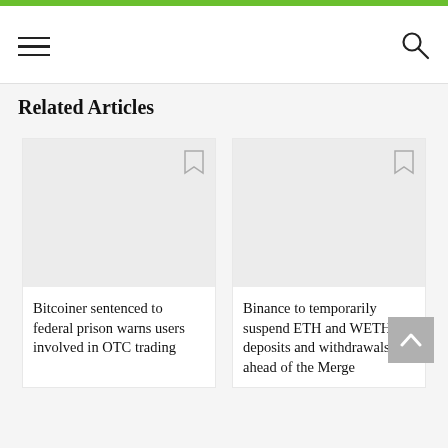Navigation bar with hamburger menu and search icon
Related Articles
[Figure (illustration): Article card with light gray placeholder image, bookmark icon in top-right corner]
Bitcoiner sentenced to federal prison warns users involved in OTC trading
[Figure (illustration): Article card with light gray placeholder image, bookmark icon in top-right corner]
Binance to temporarily suspend ETH and WETH deposits and withdrawals ahead of the Merge
[Figure (illustration): Partial article card at bottom with bookmark icon visible, image cropped]
[Figure (illustration): Partial article card at bottom with bookmark icon visible, image cropped]